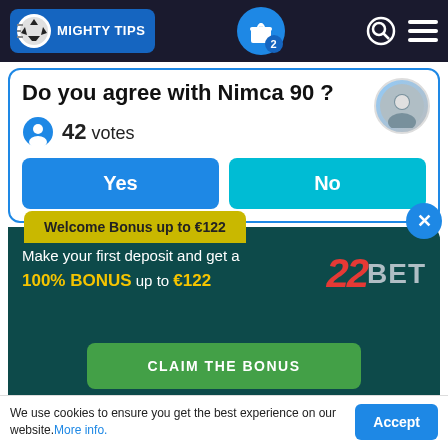[Figure (screenshot): MightyTips navigation bar with logo, gift icon with badge '2', search and menu icons]
Do you agree with Nimca 90 ?
42 votes
Yes
No
Welcome Bonus up to €122
Make your first deposit and get a 100% BONUS up to €122
[Figure (logo): 22BET logo in red and grey]
CLAIM THE BONUS
We use cookies to ensure you get the best experience on our website. More info.